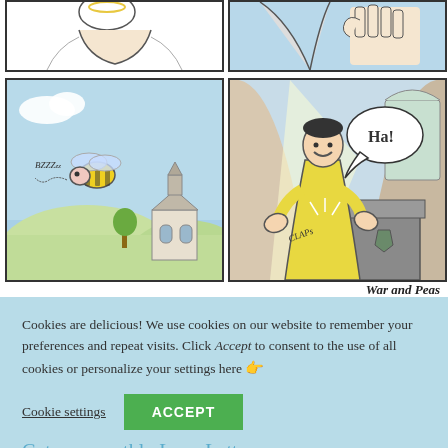[Figure (illustration): Comic strip showing four panels. Top-left: white background with partial figure. Top-right: light blue background with raised hand near face. Bottom-left: outdoor scene with yellow bee buzzing (BZZZ) over green hills and a church. Bottom-right: indoor church scene with person in yellow robe clapping hands together (CLAP) at a podium, speech bubble saying 'Ha!']
War and Peas
Cookies are delicious! We use cookies on our website to remember your preferences and repeat visits. Click Accept to consent to the use of all cookies or personalize your settings here 👉
Cookie settings
ACCEPT
Get our monthly Love Letter